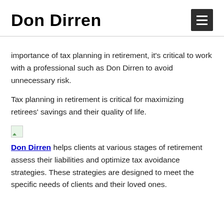Don Dirren
importance of tax planning in retirement, it’s critical to work with a professional such as Don Dirren to avoid unnecessary risk.
Tax planning in retirement is critical for maximizing retirees’ savings and their quality of life.
[Figure (illustration): Small broken/placeholder image thumbnail]
Don Dirren helps clients at various stages of retirement assess their liabilities and optimize tax avoidance strategies. These strategies are designed to meet the specific needs of clients and their loved ones.